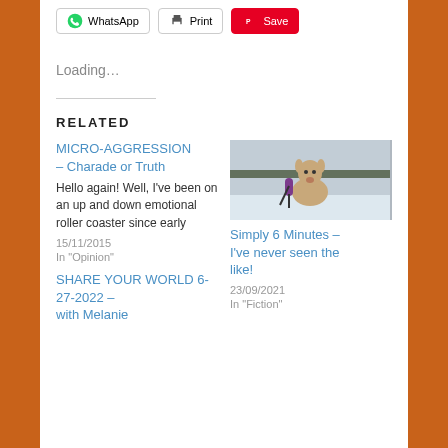[Figure (screenshot): Share buttons row: WhatsApp, Print, Save (Pinterest)]
Loading…
RELATED
MICRO-AGGRESSION – Charade or Truth
Hello again! Well, I've been on an up and down emotional roller coaster since early
15/11/2015
In "Opinion"
[Figure (photo): A deer looking at the camera, being interviewed with a microphone, snowy background]
Simply 6 Minutes – I've never seen the like!
23/09/2021
In "Fiction"
SHARE YOUR WORLD 6-27-2022 – with Melanie